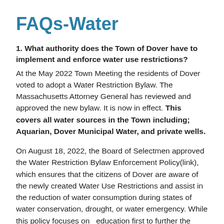FAQs-Water
1. What authority does the Town of Dover have to implement and enforce water use restrictions?
At the May 2022 Town Meeting the residents of Dover voted to adopt a Water Restriction Bylaw. The Massachusetts Attorney General has reviewed and approved the new bylaw. It is now in effect. This covers all water sources in the Town including; Aquarian, Dover Municipal Water, and private wells.
On August 18, 2022, the Board of Selectmen approved the Water Restriction Bylaw Enforcement Policy(link), which ensures that the citizens of Dover are aware of the newly created Water Use Restrictions and assist in the reduction of water consumption during states of water conservation, drought, or water emergency. While this policy focuses on  education first to further the